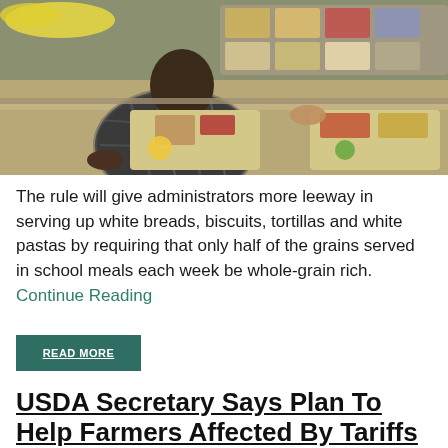[Figure (photo): A student in a plaid shirt picking up a school lunch tray at a cafeteria serving line with various food items visible]
The rule will give administrators more leeway in serving up white breads, biscuits, tortillas and white pastas by requiring that only half of the grains served in school meals each week be whole-grain rich. Continue Reading
READ MORE
USDA Secretary Says Plan To Help Farmers Affected By Tariffs